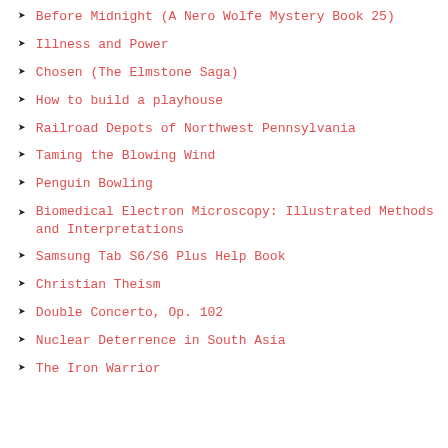Before Midnight (A Nero Wolfe Mystery Book 25)
Illness and Power
Chosen (The Elmstone Saga)
How to build a playhouse
Railroad Depots of Northwest Pennsylvania
Taming the Blowing Wind
Penguin Bowling
Biomedical Electron Microscopy: Illustrated Methods and Interpretations
Samsung Tab S6/S6 Plus Help Book
Christian Theism
Double Concerto, Op. 102
Nuclear Deterrence in South Asia
The Iron Warrior